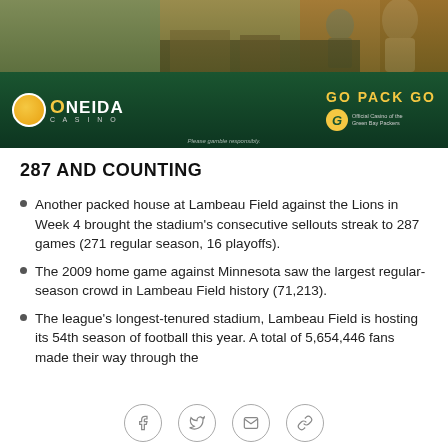[Figure (photo): Oneida Casino advertisement with green background, showing 'GO PACK GO' text and logos. Features Oneida Casino logo with orange circle and text, Green Bay Packers G logo, and 'Official Casino of the Green Bay Packers' text. Disclaimer reads 'Please gamble responsibly.']
287 AND COUNTING
Another packed house at Lambeau Field against the Lions in Week 4 brought the stadium's consecutive sellouts streak to 287 games (271 regular season, 16 playoffs).
The 2009 home game against Minnesota saw the largest regular-season crowd in Lambeau Field history (71,213).
The league's longest-tenured stadium, Lambeau Field is hosting its 54th season of football this year. A total of 5,654,446 fans made their way through the
[Figure (infographic): Social sharing bar with Facebook, Twitter, email, and link icons in circular outlines]